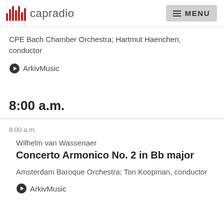capradio  MENU
CPE Bach Chamber Orchestra; Hartmut Haenchen, conductor
ArkivMusic
8:00 a.m.
8:00 a.m.
Wilhelm van Wassenaer
Concerto Armonico No. 2 in Bb major
Amsterdam Baroque Orchestra; Ton Koopman, conductor
ArkivMusic